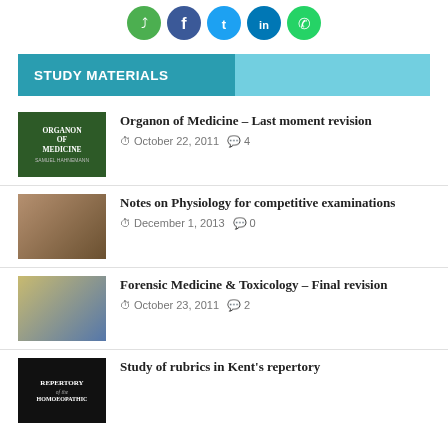[Figure (illustration): Row of five social media sharing icon buttons (green share, Facebook blue, Twitter blue, LinkedIn blue, WhatsApp green) as circular icons at the top of the page]
STUDY MATERIALS
Organon of Medicine – Last moment revision
October 22, 2011  4
Notes on Physiology for competitive examinations
December 1, 2013  0
Forensic Medicine & Toxicology – Final revision
October 23, 2011  2
Study of rubrics in Kent's repertory